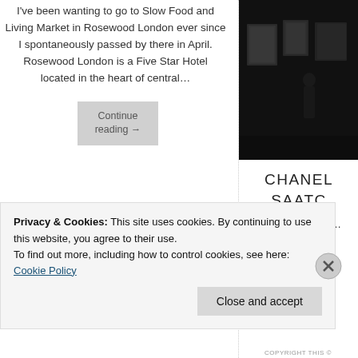I've been wanting to go to Slow Food and Living Market in Rosewood London ever since I spontaneously passed by there in April. Rosewood London is a Five Star Hotel located in the heart of central…
Continue reading →
[Figure (photo): Dark interior gallery/exhibition photo showing figures and framed pictures on wall]
CHANEL SAATC
I had the most a… Mademoise… at… an…
Privacy & Cookies: This site uses cookies. By continuing to use this website, you agree to their use.
To find out more, including how to control cookies, see here: Cookie Policy
Close and accept
COPYRIGHT THIS©